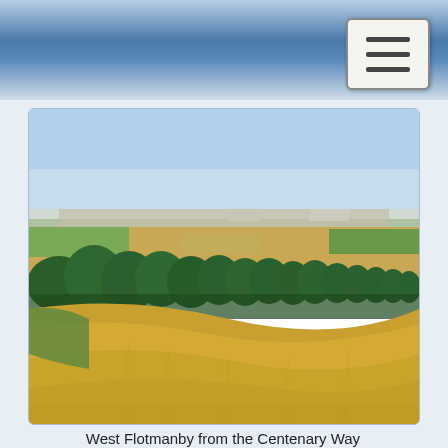[Figure (photo): Landscape photograph showing West Flotmanby from the Centenary Way. Golden wheat/grass fields in the foreground with a row of green trees in the middle ground. Beyond the trees are more patchwork agricultural fields and a small settlement or village in the distance under a clear blue sky.]
West Flotmanby from the Centenary Way